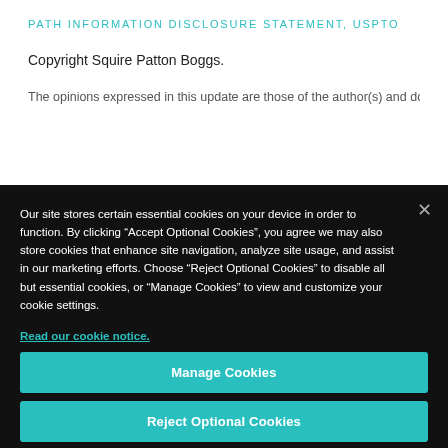PATH INFORMATION DISCLOSURE STATEMENT, USPTO
Copyright Squire Patton Boggs.
The opinions expressed in this update are those of the author(s) and do not
Our site stores certain essential cookies on your device in order to function. By clicking “Accept Optional Cookies”, you agree we may also store cookies that enhance site navigation, analyze site usage, and assist in our marketing efforts. Choose “Reject Optional Cookies” to disable all but essential cookies, or “Manage Cookies” to view and customize your cookie settings.
Read our cookie notice.
Manage Cookies
Reject Optional Cookies
Accept Optional Cookies